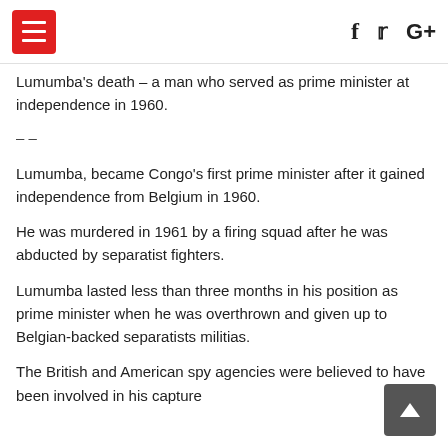[hamburger menu] [facebook] [twitter] [google+]
Lumumba's death – a man who served as prime minister at independence in 1960.
– –
Lumumba, became Congo's first prime minister after it gained independence from Belgium in 1960.
He was murdered in 1961 by a firing squad after he was abducted by separatist fighters.
Lumumba lasted less than three months in his position as prime minister when he was overthrown and given up to Belgian-backed separatists militias.
The British and American spy agencies were believed to have been involved in his capture